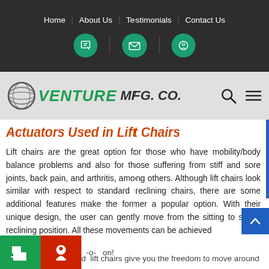Home | About Us | Testimonials | Contact Us
[Figure (logo): Venture Mfg. Co. logo with globe graphic, search icon and hamburger menu]
Actuators Used in Lift Chairs
Lift chairs are the great option for those who have mobility/body balance problems and also for those suffering from stiff and sore joints, back pain, and arthritis, among others. Although lift chairs look similar with respect to standard reclining chairs, there are some additional features make the former a popular option. With their unique design, the user can gently move from the sitting to standing reclining position. All these movements can be achieved -o- on! d lift chairs give you the freedom to move around